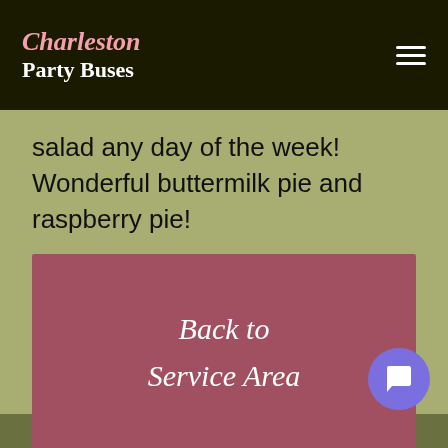Charleston Party Buses
salad any day of the week! Wonderful buttermilk pie and raspberry pie!
Back to Service Area